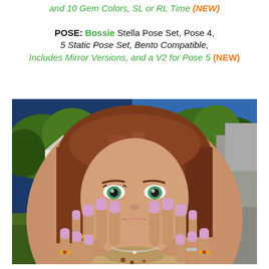and 10 Gem Colors, SL or RL Time (NEW)
POSE: Bossie Stella Pose Set, Pose 4, 5 Static Pose Set, Bento Compatible, Includes Mirror Versions, and a V2 for Pose 5 (NEW)
[Figure (photo): 3D rendered image of a young woman with long auburn hair and green eyes, hands raised near her face showing lavender/pink nails with rings, wearing a floral top, with an outdoor garden/waterfall background.]